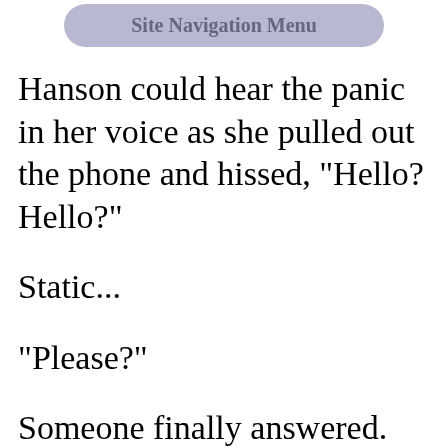Site Navigation Menu
Hanson could hear the panic in her voice as she pulled out the phone and hissed, "Hello? Hello?"
Static...
"Please?"
Someone finally answered. "Security..."